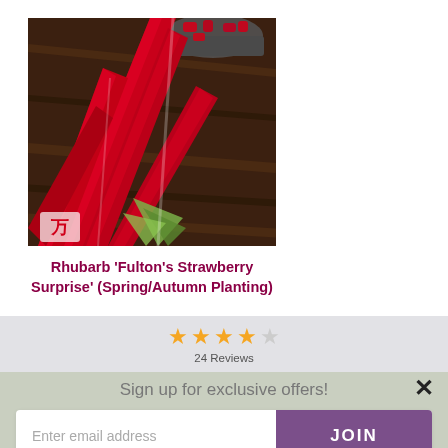[Figure (photo): Photo of red rhubarb stalks on a dark wooden surface with a bowl of chopped rhubarb in the background. A small logo/brand mark is visible in the bottom-left corner of the image.]
Rhubarb 'Fulton's Strawberry Surprise' (Spring/Autumn Planting)
[Figure (other): Star rating showing 4 out of 5 stars (4 filled gold stars and 1 empty star), with text '24 Reviews' below]
Sign up for exclusive offers!
Enter email address
JOIN